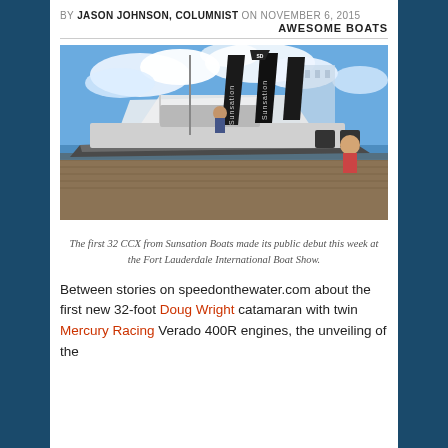BY JASON JOHNSON, COLUMNIST ON NOVEMBER 6, 2015
AWESOME BOATS
[Figure (photo): The first 32 CCX from Sunsation Boats docked at the Fort Lauderdale International Boat Show, with Sunsation banner flags visible in the background and attendees on the dock.]
The first 32 CCX from Sunsation Boats made its public debut this week at the Fort Lauderdale International Boat Show.
Between stories on speedonthewater.com about the first new 32-foot Doug Wright catamaran with twin Mercury Racing Verado 400R engines, the unveiling of the